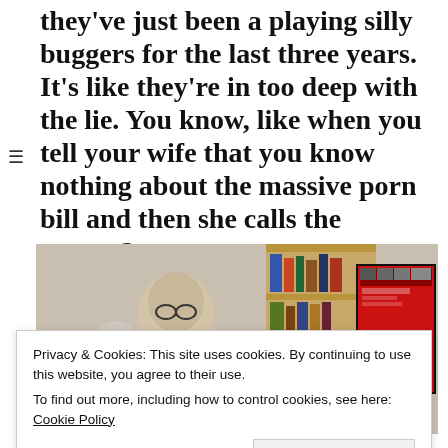revoke Article 50 and admit that they've just been a playing silly buggers for the last three years. It's like they're in too deep with the lie. You know, like when you tell your wife that you know nothing about the massive porn bill and then she calls the papers?
[Figure (photo): An elderly man with glasses sitting next to another person, with a large TV screen showing a red video-on-demand menu interface visible in the background, along with a wooden bookshelf.]
Privacy & Cookies: This site uses cookies. By continuing to use this website, you agree to their use.
To find out more, including how to control cookies, see here: Cookie Policy